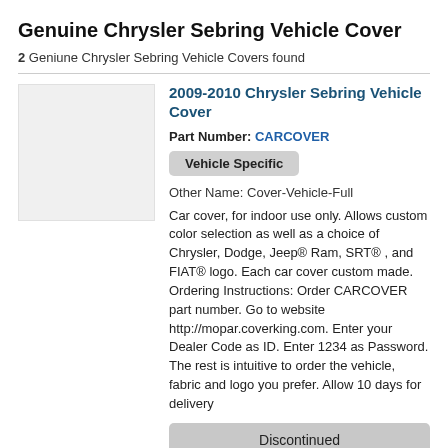Genuine Chrysler Sebring Vehicle Cover
2 Geniune Chrysler Sebring Vehicle Covers found
[Figure (photo): Light gray placeholder image for vehicle cover product]
2009-2010 Chrysler Sebring Vehicle Cover
Part Number: CARCOVER
Vehicle Specific
Other Name: Cover-Vehicle-Full
Car cover, for indoor use only. Allows custom color selection as well as a choice of Chrysler, Dodge, Jeep® Ram, SRT® , and FIAT® logo. Each car cover custom made. Ordering Instructions: Order CARCOVER part number. Go to website http://mopar.coverking.com. Enter your Dealer Code as ID. Enter 1234 as Password. The rest is intuitive to order the vehicle, fabric and logo you prefer. Allow 10 days for delivery
Discontinued
More Info